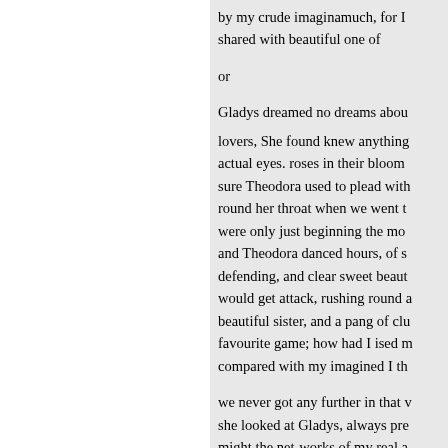by my crude imaginamuch, for I shared with beautiful one of

or

Gladys dreamed no dreams abou

lovers, She found knew anything actual eyes. roses in their bloom sure Theodora used to plead with round her throat when we went t were only just beginning the mo and Theodora danced hours, of s defending, and clear sweet beaut would get attack, rushing round a beautiful sister, and a pang of clu favourite game; how had I ised m compared with my imagined I th

we never got any further in that v she looked at Gladys, always pre might the net-works of my real a meet- but for my moment's whim Nothing could poison Theodora's purpose, just as it always.